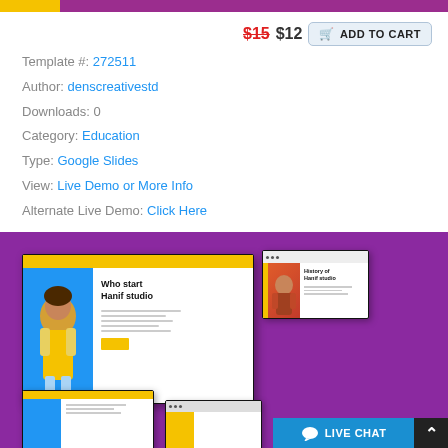$15 $12 ADD TO CART
Template #: 272511
Author: denscreativestd
Downloads: 0
Category: Education
Type: Google Slides
View: Live Demo or More Info
Alternate Live Demo: Click Here
[Figure (screenshot): Preview of a colorful Google Slides presentation template on a purple background, showing multiple slide thumbnails with 'Who start Hanif studio' and 'History of Hanif studio' text, featuring yellow, blue, orange and purple color scheme with a person in a yellow top.]